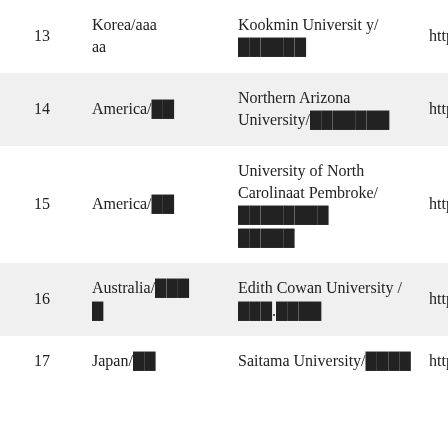| # | Country | Institution | URL |
| --- | --- | --- | --- |
| 13 | Korea/한국 | Kookmin University/국민대학교 | http://... |
| 14 | America/미국 | Northern Arizona University/노던애리조나대학교 | http://... |
| 15 | America/미국 | University of North Carolinaat Pembroke/노스캐롤라이나대학교펨브로크 | http://... |
| 16 | Australia/오스트레일리아 | Edith Cowan University /에디스.코완대학교 | http://... |
| 17 | Japan/일본 | Saitama University/사이타마대학교 | http://... |